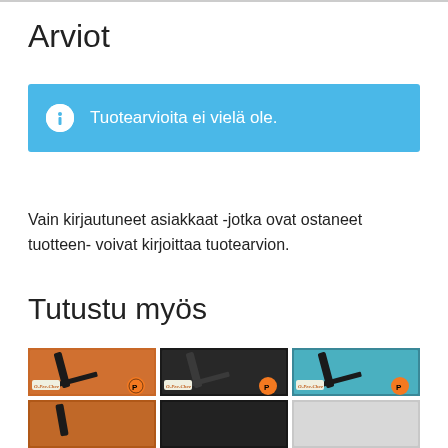Arviot
Tuotearvioita ei vielä ole.
Vain kirjautuneet asiakkaat -jotka ovat ostaneet tuotteen- voivat kirjoittaa tuotearvion.
Tutustu myös
[Figure (photo): Grid of hockey trading cards (O-Pee-Chee brand with Philadelphia Flyers logo) showing 2 rows of 3 cards each with orange, dark, and blue/teal backgrounds]